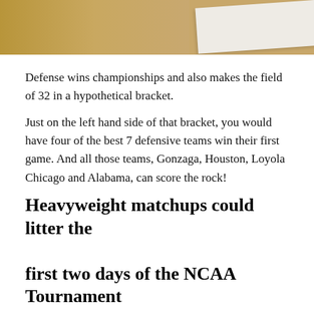[Figure (photo): Cropped photo showing a wooden surface (table or floor) with what appears to be a white paper or document partially visible at the top right corner.]
Defense wins championships and also makes the field of 32 in a hypothetical bracket.
Just on the left hand side of that bracket, you would have four of the best 7 defensive teams win their first game. And all those teams, Gonzaga, Houston, Loyola Chicago and Alabama, can score the rock!
Heavyweight matchups could litter the first two days of the NCAA Tournament
If this mock up is any indication, there could be some serious heavyweight fights in just the first 48. Creighton